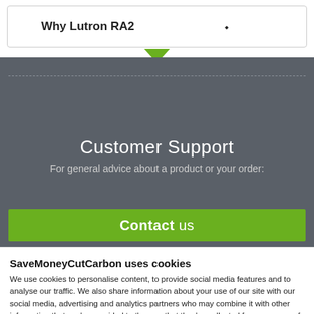Why Lutron RA2
Customer Support
For general advice about a product or your order:
Contact us
SaveMoneyCutCarbon uses cookies
We use cookies to personalise content, to provide social media features and to analyse our traffic. We also share information about your use of our site with our social media, advertising and analytics partners who may combine it with other information that you've provided to them or that they've collected from your use of their services.
Deny
Allow all
Show details